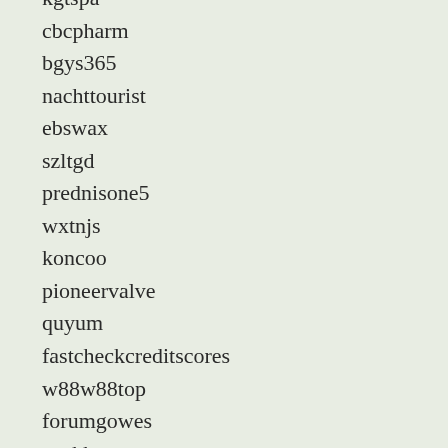kgtspa
cbcpharm
bgys365
nachttourist
ebswax
szltgd
prednisone5
wxtnjs
koncoo
pioneervalve
quyum
fastcheckcreditscores
w88w88top
forumgowes
aoebbs
ttfq
herbal-booster
workoutplan
javxxx
renewmyhealth